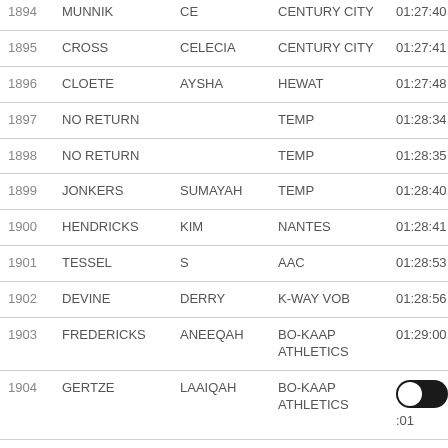| # | Surname | First Name | Club | Time |
| --- | --- | --- | --- | --- |
| 1894 | MUNNIK | CE | CENTURY CITY | 01:27:40 |
| 1895 | CROSS | CELECIA | CENTURY CITY | 01:27:41 |
| 1896 | CLOETE | AYSHA | HEWAT | 01:27:48 |
| 1897 | NO RETURN |  | TEMP | 01:28:34 |
| 1898 | NO RETURN |  | TEMP | 01:28:35 |
| 1899 | JONKERS | SUMAYAH | TEMP | 01:28:40 |
| 1900 | HENDRICKS | KIM | NANTES | 01:28:41 |
| 1901 | TESSEL | S | AAC | 01:28:53 |
| 1902 | DEVINE | DERRY | K-WAY VOB | 01:28:56 |
| 1903 | FREDERICKS | ANEEQAH | BO-KAAP ATHLETICS | 01:29:00 |
| 1904 | GERTZE | LAAIQAH | BO-KAAP ATHLETICS | 01:29:01 |